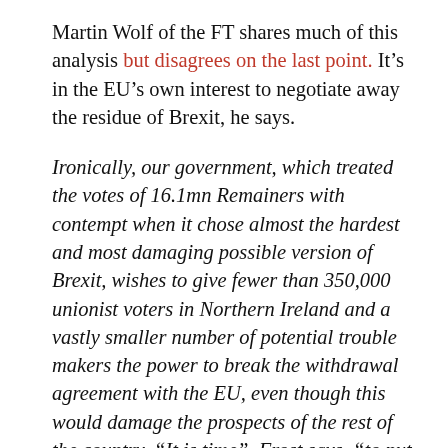Martin Wolf of the FT shares much of this analysis but disagrees on the last point. It’s in the EU’s own interest to negotiate away the residue of Brexit, he says.
Ironically, our government, which treated the votes of 16.1mn Remainers with contempt when it chose almost the hardest and most damaging possible version of Brexit, wishes to give fewer than 350,000 unionist voters in Northern Ireland and a vastly smaller number of potential trouble makers the power to break the withdrawal agreement with the EU, even though this would damage the prospects of the rest of the country. “It is time”, Frost says, “to put our own interests first”. Indeed, we should. The interest of the British people lies in the best and most stable possible relations with the EU, our